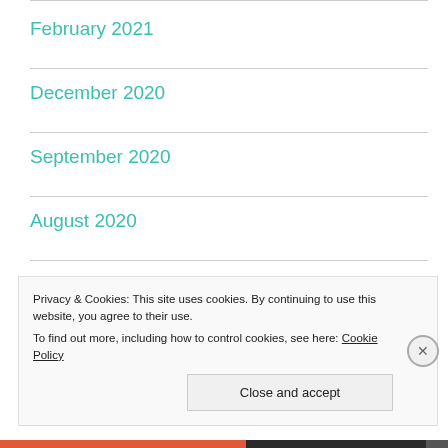February 2021
December 2020
September 2020
August 2020
July 2020
June 2020
Privacy & Cookies: This site uses cookies. By continuing to use this website, you agree to their use.
To find out more, including how to control cookies, see here: Cookie Policy
Close and accept